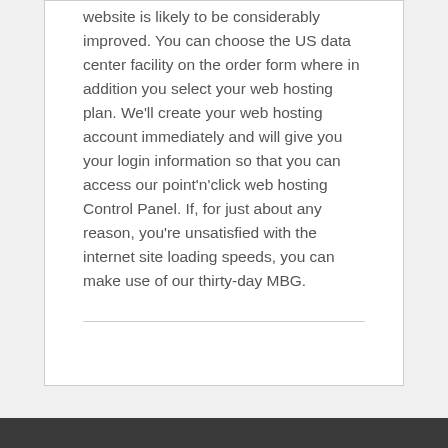website is likely to be considerably improved. You can choose the US data center facility on the order form where in addition you select your web hosting plan. We'll create your web hosting account immediately and will give you your login information so that you can access our point'n'click web hosting Control Panel. If, for just about any reason, you're unsatisfied with the internet site loading speeds, you can make use of our thirty-day MBG.